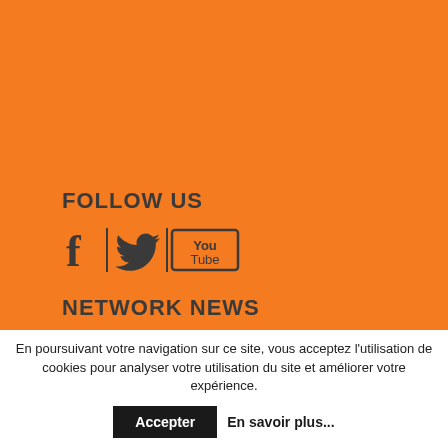FOLLOW US
[Figure (illustration): Social media icons: Facebook (f), Twitter bird, YouTube logo with 'You Tube' text in a box, separated by vertical dividers]
NETWORK NEWS
Get all the latest news about the QCGN in your inbox.
En poursuivant votre navigation sur ce site, vous acceptez l'utilisation de cookies pour analyser votre utilisation du site et améliorer votre expérience.
Accepter   En savoir plus...